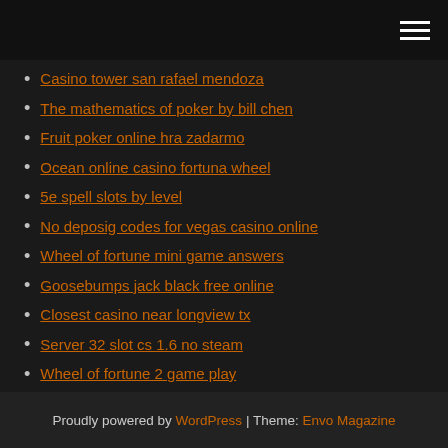Casino tower san rafael mendoza
The mathematics of poker by bill chen
Fruit poker online hra zadarmo
Ocean online casino fortuna wheel
5e spell slots by level
No deposig codes for vegas casino online
Wheel of fortune mini game answers
Goosebumps jack black free online
Closest casino near longview tx
Server 32 slot cs 1.6 no steam
Wheel of fortune 2 game play
Proudly powered by WordPress | Theme: Envo Magazine